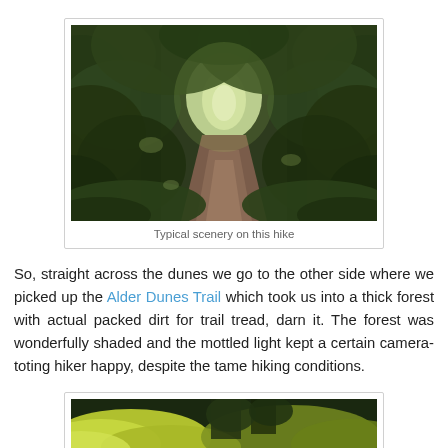[Figure (photo): A forest trail with packed dirt tread, surrounded by dense green trees and foliage, with dappled light coming through the canopy overhead]
Typical scenery on this hike
So, straight across the dunes we go to the other side where we picked up the Alder Dunes Trail which took us into a thick forest with actual packed dirt for trail tread, darn it. The forest was wonderfully shaded and the mottled light kept a certain camera-toting hiker happy, despite the tame hiking conditions.
[Figure (photo): Partial view of a second photo, showing yellow/green vegetation and dark forest in the background]